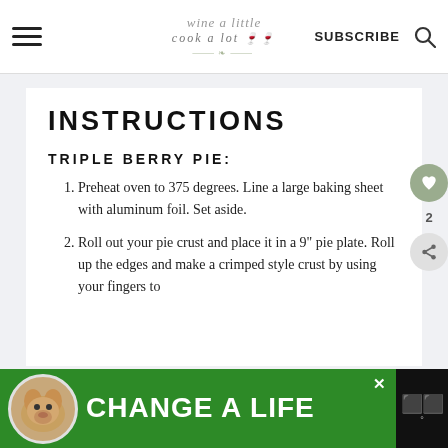wine a little cook a lot | SUBSCRIBE
INSTRUCTIONS
TRIPLE BERRY PIE:
Preheat oven to 375 degrees. Line a large baking sheet with aluminum foil. Set aside.
Roll out your pie crust and place it in a 9" pie plate. Roll up the edges and make a crimped style crust by using your fingers to
[Figure (other): Ad banner: green background with dog photo, text 'CHANGE A LIFE', close button, and dark panel on right]